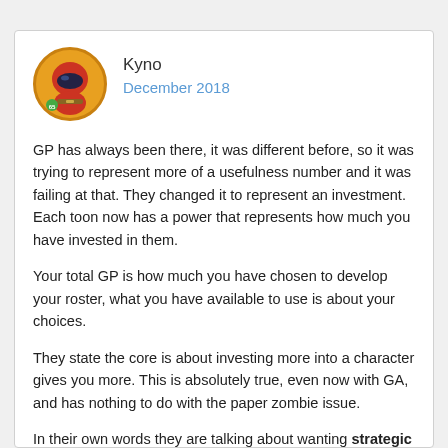[Figure (illustration): User avatar: cartoon character with helmet, orange/green coloring, circular profile picture]
Kyno
December 2018
GP has always been there, it was different before, so it was trying to represent more of a usefulness number and it was failing at that. They changed it to represent an investment. Each toon now has a power that represents how much you have invested in them.
Your total GP is how much you have chosen to develop your roster, what you have available to use is about your choices.
They state the core is about investing more into a character gives you more. This is absolutely true, even now with GA, and has nothing to do with the paper zombie issue.
In their own words they are talking about wanting strategic development and strategic resource management to be a core tenant of the game and that it should always benefit the player to do so. This still holds true for GA. Some have done it more than others and are benefitting from it right now.